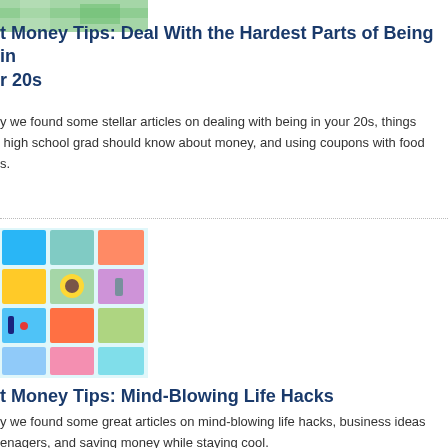[Figure (photo): Partial image of food/plants at the top (cropped), appearing to show green leaves or vegetables]
t Money Tips: Deal With the Hardest Parts of Being in r 20s
y we found some stellar articles on dealing with being in your 20s, things high school grad should know about money, and using coupons with food s.
[Figure (photo): Collage of various photos including travel, nature (sunflower), beach, people, and landmarks arranged in a grid of polaroid-style photos]
t Money Tips: Mind-Blowing Life Hacks
y we found some great articles on mind-blowing life hacks, business ideas enagers, and saving money while staying cool.
[Figure (photo): Silhouette of a person with arm raised against a light sky background]